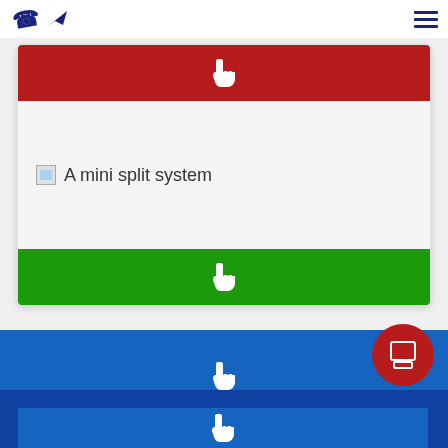Phone and arrow icons (left), hamburger menu (right)
[Figure (screenshot): Red clickable button bar with pointer cursor icon]
[Figure (photo): Card with broken image placeholder and alt text 'A mini split system']
[Figure (screenshot): Green clickable button bar with pointer cursor icon]
[Figure (screenshot): Blue clickable button bar with pointer cursor icon]
[Figure (screenshot): Red circular FAB button with tablet/phone icon]
[Figure (screenshot): Dark blue section with blue inner clickable bar and pointer cursor]